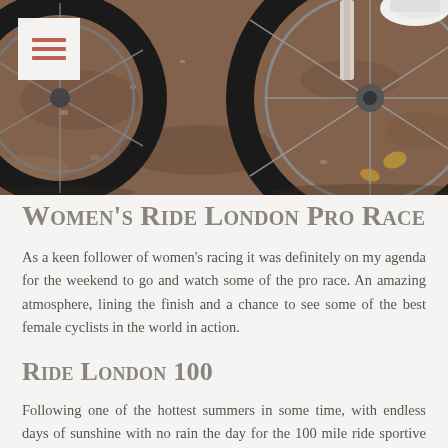[Figure (photo): Close-up photograph of a road bicycle wheel on a gravel/tarmac surface, showing the tire, rim, and fork. A cyclist's shoe is partially visible at top right. A white menu icon overlay is in the top left corner.]
Women's Ride London Pro Race
As a keen follower of women's racing it was definitely on my agenda for the weekend to go and watch some of the pro race. An amazing atmosphere, lining the finish and a chance to see some of the best female cyclists in the world in action.
Ride London 100
Following one of the hottest summers in some time, with endless days of sunshine with no rain the day for the 100 mile ride sportive was then forecast to be a classically British day of wind and rain. Lovely. It wasn't cold though, so jersey, shorts and gilet it was. My start time was 6.20am, it was going to be a very rude wake up call at 3.30am and having spent a day being a tourist in London the day